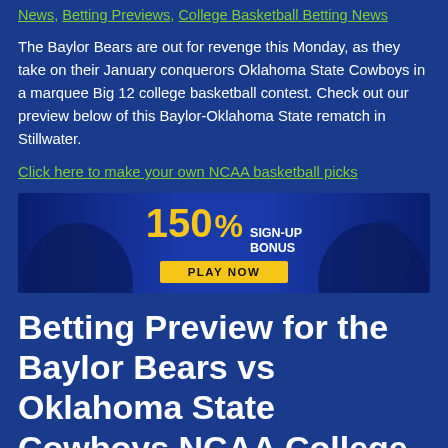News, Betting Previews, College Basketball Betting News
The Baylor Bears are out for revenge this Monday, as they take on their January conquerors Oklahoma State Cowboys in a marquee Big 12 college basketball contest. Check out our preview below of this Baylor-Oklahoma State rematch in Stillwater.
Click here to make your own NCAA basketball picks
[Figure (infographic): Advertisement banner showing 150% Sign-Up Bonus with Play Now button and basketball player silhouettes]
Betting Preview for the Baylor Bears vs Oklahoma State Cowboys NCAA College Basketball